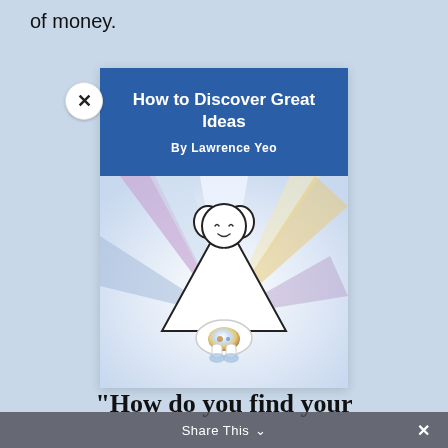of money.
[Figure (illustration): Book cover for 'How to Discover Great Ideas' by Lawrence Yeo, featuring a white triangle-shaped cartoon figure with a smiling face holding a glowing orb, set against a light blue background with colorful rays radiating outward. The top portion has a blue banner with the title and author name.]
"How do you find your ideas?"
Share This